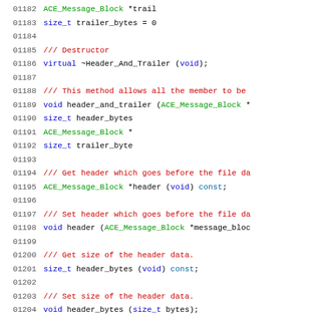[Figure (screenshot): Source code listing showing C++ class methods for Header_And_Trailer, lines 01182-01211, with line numbers on the left and syntax-highlighted code on the right. Keywords in blue, comments in red, types/identifiers in green.]